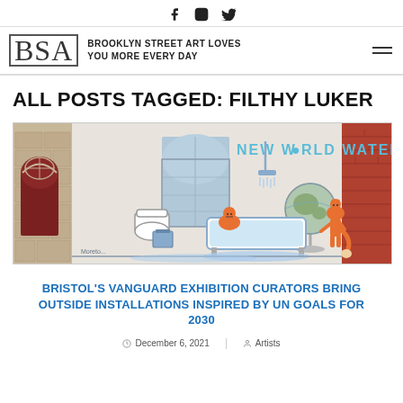Social icons: Facebook, Instagram, Twitter
BSA — BROOKLYN STREET ART LOVES YOU MORE EVERY DAY
ALL POSTS TAGGED: FILTHY LUKER
[Figure (photo): Street art mural showing cartoon fox characters in a bathroom scene with bath, toilet, and globe, with text 'NEW WORLD WATER' painted on a building exterior]
BRISTOL'S VANGUARD EXHIBITION CURATORS BRING OUTSIDE INSTALLATIONS INSPIRED BY UN GOALS FOR 2030
December 6, 2021 | Artists